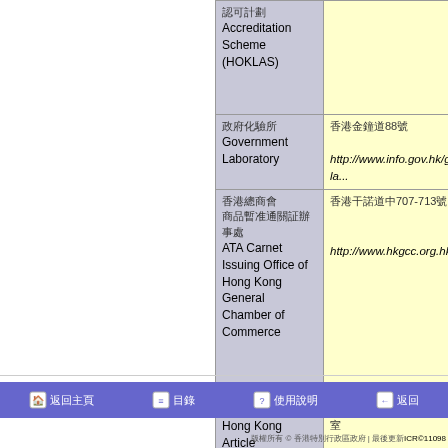| Organisation | Contact |
| --- | --- |
| Accreditation Scheme (HOKLAS) |  |
| Government Laboratory | 88... http://www.info.gov.hk/govl... |
| ATA Carnet Issuing Office of Hong Kong General Chamber of Commerce | 707-713... http://www.hkgcc.org.hk/ |
| Hong Kong Article Numbering Association | 95... 22 B ... http://www.hkana.org/ |
Home | Table of Contents | Help | Back